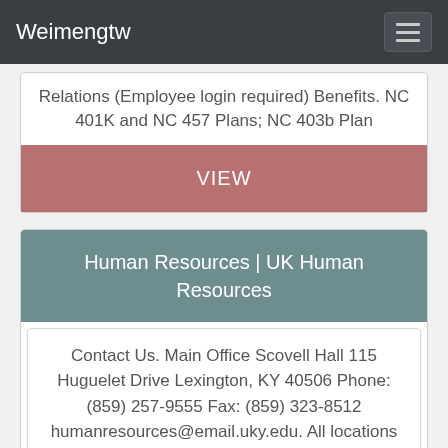Weimengtw
Relations (Employee login required) Benefits. NC 401K and NC 457 Plans; NC 403b Plan
VIEW
Human Resources | UK Human Resources
Contact Us. Main Office Scovell Hall 115 Huguelet Drive Lexington, KY 40506 Phone: (859) 257-9555 Fax: (859) 323-8512 humanresources@email.uky.edu. All locations